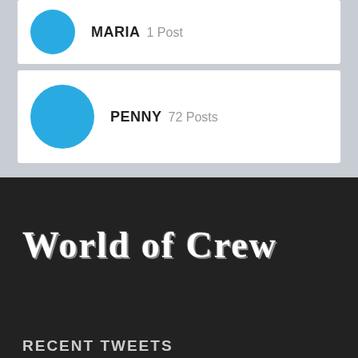MARIA 1 Post
PENNY 72 Posts
World of Crew
RECENT TWEETS